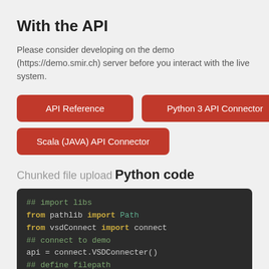With the API
Please consider developing on the demo (https://demo.smir.ch) server before you interact with the live system.
API Reference
Python 3 API Connector
Scala (JAVA) API Connector
Chunked file upload
Python code
[Figure (screenshot): Python code block showing: ## import libs, from pathlib import Path, from vsdConnect import connect, ## connect to demo, api = connect.VSDConnecter(), ## define filepath, fp = Path('C:' + os.sep, 'test', 'test.nii'), ## Define chunk size to eg. 8 MB if you dont want]